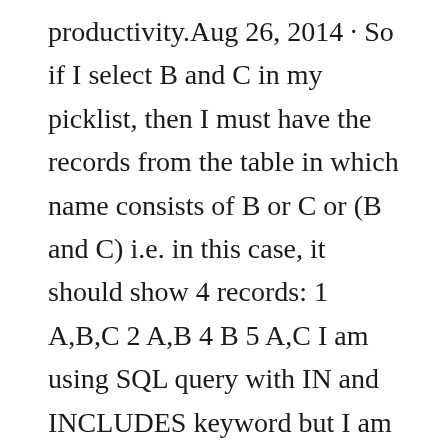productivity.Aug 26, 2014 · So if I select B and C in my picklist, then I must have the records from the table in which name consists of B or C or (B and C) i.e. in this case, it should show 4 records: 1 A,B,C 2 A,B 4 B 5 A,C I am using SQL query with IN and INCLUDES keyword but I am unable to achieve this functionality. The Street field in Salesforce is actually made up of three lines: Street 1, Street 2, and Street 3. This may be called something